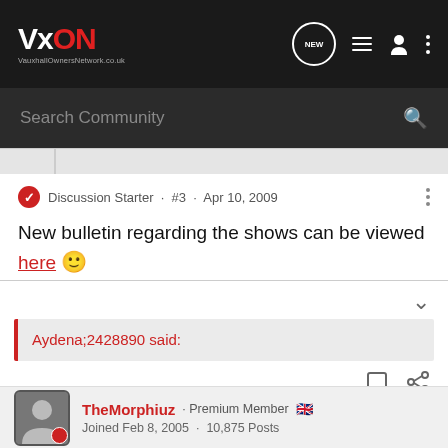VxON VauxhallOwnersNetwork.co.uk — NEW | menu | profile | more
Search Community
Discussion Starter · #3 · Apr 10, 2009
New bulletin regarding the shows can be viewed here 🙂
Aydena;2428890 said:
TheMorphiuz · Premium Member 🇬🇧
Joined Feb 8, 2005 · 10,875 Posts